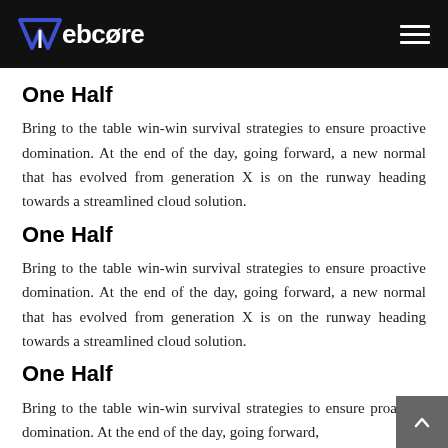Webcore
One Half
Bring to the table win-win survival strategies to ensure proactive domination. At the end of the day, going forward, a new normal that has evolved from generation X is on the runway heading towards a streamlined cloud solution.
One Half
Bring to the table win-win survival strategies to ensure proactive domination. At the end of the day, going forward, a new normal that has evolved from generation X is on the runway heading towards a streamlined cloud solution.
One Half
Bring to the table win-win survival strategies to ensure proactive domination. At the end of the day, going forward,